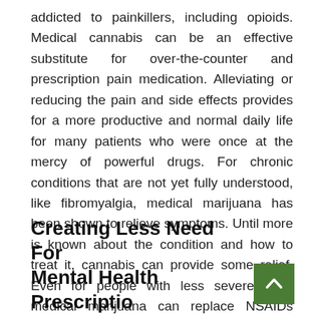addicted to painkillers, including opioids. Medical cannabis can be an effective substitute for over-the-counter and prescription pain medication. Alleviating or reducing the pain and side effects provides for a more productive and normal daily life for many patients who were once at the mercy of powerful drugs. For chronic conditions that are not yet fully understood, like fibromyalgia, medical marijuana has been shown to relieve symptoms. Until more is known about the condition and how to treat it, cannabis can provide some relief. Even for people with less severe pain, medical marijuana can replace NSAIDs (e.g., Aleve or Advil), which many people can't take due to issues such as kidney dysfunction or stomach ulcers.
Creating Less Need For Mental Health Prescription